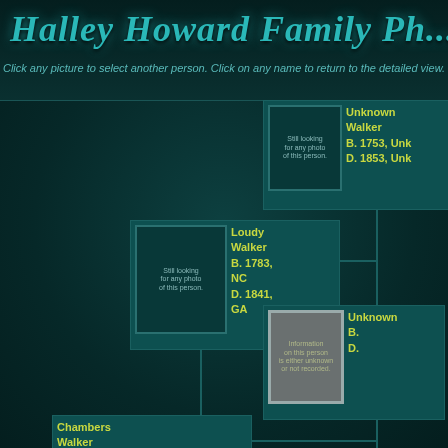Halley Howard Family Ph...
Click any picture to select another person. Click on any name to return to the detailed view.
[Figure (organizational-chart): Family tree pedigree chart on dark teal background showing Walker family ancestry. Nodes: Unknown Walker (B.1753, D.1853); Loudy Walker (B.1783 NC, D.1841 GA); Unknown (B., D.); Chambers Walker (B. 12/1821 GA). Each node has a placeholder photo box and name/dates in yellow-green text.]